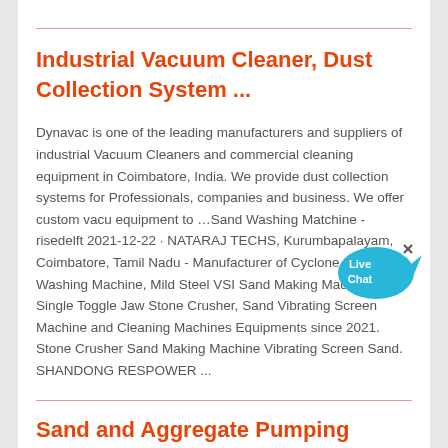Industrial Vacuum Cleaner, Dust Collection System ...
Dynavac is one of the leading manufacturers and suppliers of industrial Vacuum Cleaners and commercial cleaning equipment in Coimbatore, India. We provide dust collection systems for Professionals, companies and business. We offer custom vacu equipment to …Sand Washing Matchine - risedelft 2021-12-22 · NATARAJ TECHS, Kurumbapalayam, Coimbatore, Tamil Nadu - Manufacturer of Cyclone Sand Washing Machine, Mild Steel VSI Sand Making Machine, Single Toggle Jaw Stone Crusher, Sand Vibrating Screen Machine and Cleaning Machines Equipments since 2021. Stone Crusher Sand Making Machine Vibrating Screen Sand. SHANDONG RESPOWER ...
[Figure (other): Live Chat bubble widget overlay in blue]
Sand and Aggregate Pumping